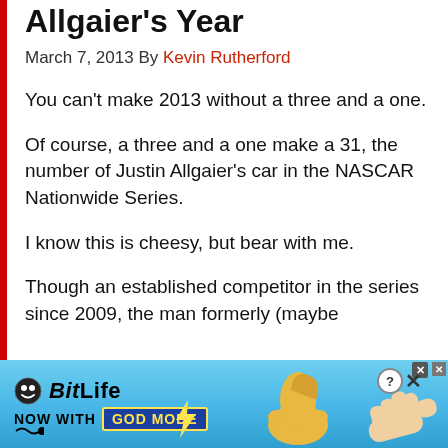Allgaier's Year
March 7, 2013 By Kevin Rutherford
You can't make 2013 without a three and a one.
Of course, a three and a one make a 31, the number of Justin Allgaier's car in the NASCAR Nationwide Series.
I know this is cheesy, but bear with me.
Though an established competitor in the series since 2009, the man formerly (maybe
[Figure (screenshot): BitLife advertisement banner with 'NOW WITH GOD MODE' text, thumbs up graphics, and close/help buttons on a blue gradient background]